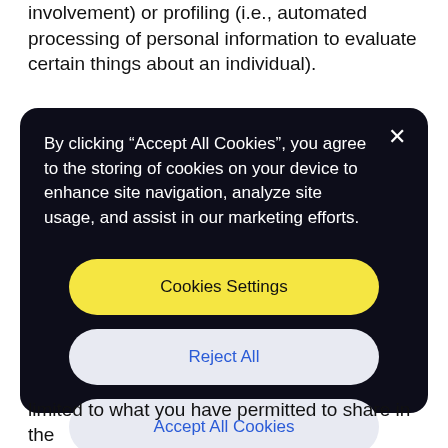involvement) or profiling (i.e., automated processing of personal information to evaluate certain things about an individual).
[Figure (screenshot): Cookie consent modal dialog with dark background. Contains text 'By clicking “Accept All Cookies”, you agree to the storing of cookies on your device to enhance site navigation, analyze site usage, and assist in our marketing efforts.' and three buttons: 'Cookies Settings' (yellow), 'Reject All' (white/light), 'Accept All Cookies' (white/light). An X close button is in the top right corner.]
limited to what you have permitted to share in the